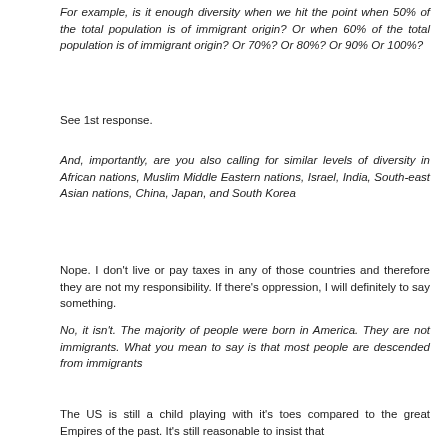For example, is it enough diversity when we hit the point when 50% of the total population is of immigrant origin? Or when 60% of the total population is of immigrant origin? Or 70%? Or 80%? Or 90% Or 100%?
See 1st response.
And, importantly, are you also calling for similar levels of diversity in African nations, Muslim Middle Eastern nations, Israel, India, South-east Asian nations, China, Japan, and South Korea
Nope. I don't live or pay taxes in any of those countries and therefore they are not my responsibility. If there's oppression, I will definitely to say something.
No, it isn't. The majority of people were born in America. They are not immigrants. What you mean to say is that most people are descended from immigrants
The US is still a child playing with it's toes compared to the great Empires of the past. It's still reasonable to insist that